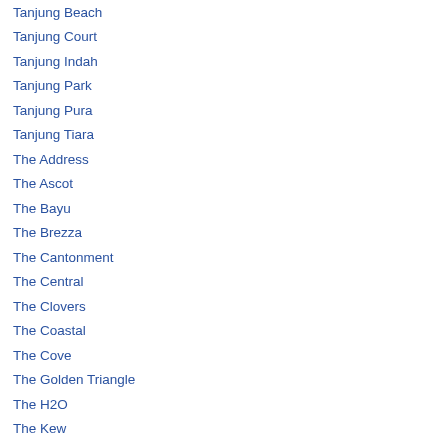Tanjung Beach
Tanjung Court
Tanjung Indah
Tanjung Park
Tanjung Pura
Tanjung Tiara
The Address
The Ascot
The Bayu
The Brezza
The Cantonment
The Central
The Clovers
The Coastal
The Cove
The Golden Triangle
The H2O
The Kew
The L.O.O.C Residence